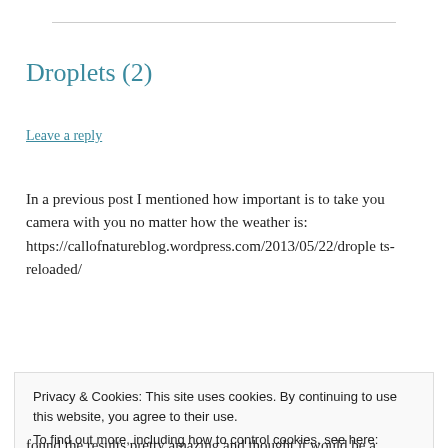Droplets (2)
Leave a reply
In a previous post I mentioned how important is to take you camera with you no matter how the weather is: https://callofnatureblog.wordpress.com/2013/05/22/droplets-reloaded/
Privacy & Cookies: This site uses cookies. By continuing to use this website, you agree to their use.
To find out more, including how to control cookies, see here: Cookie Policy
found the results pretty amazing and thought it would be a